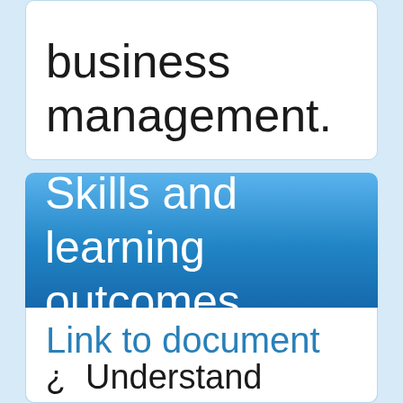business management.
Skills and learning outcomes
Link to document
¿      Understand